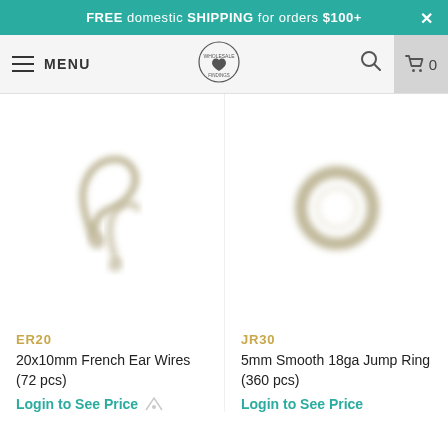FREE domestic SHIPPING for orders $100+
[Figure (screenshot): Website navigation bar with hamburger menu, MENU text, center logo (circular badge with heart), search icon, and cart icon with 0 count]
[Figure (photo): 20x10mm French Ear Wires product photo showing two silver ear wire hooks]
ER20
20x10mm French Ear Wires (72 pcs)
Login to See Price
[Figure (photo): 5mm Smooth 18ga Jump Ring product photo showing a small silver jump ring]
JR30
5mm Smooth 18ga Jump Ring (360 pcs)
Login to See Price